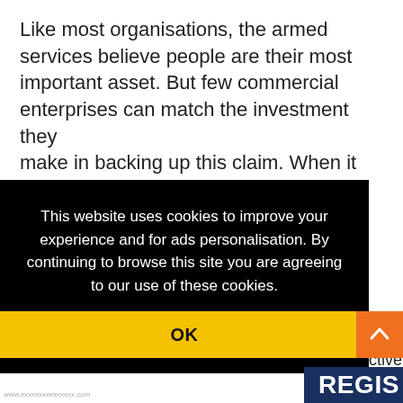Like most organisations, the armed services believe people are their most important asset. But few commercial enterprises can match the investment they make in backing up this claim. When it comes to nurturing and uncovering talent, the forces are notable and… There is
This website uses cookies to improve your experience and for ads personalisation. By continuing to browse this site you are agreeing to our use of these cookies. You can learn more about the cookies we use here.
ctive
OK
REGIS